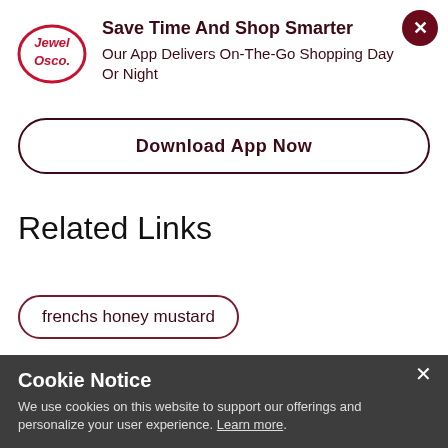[Figure (logo): Jewel Osco logo — oval shape with red border, 'Jewel' text on top and 'Osco.' on bottom in red]
Save Time And Shop Smarter
Our App Delivers On-The-Go Shopping Day Or Night
Download App Now
Related Links
frenchs honey mustard
silver spring hot mustard
Cookie Notice
We use cookies on this website to support our offerings and personalize your user experience. Learn more.